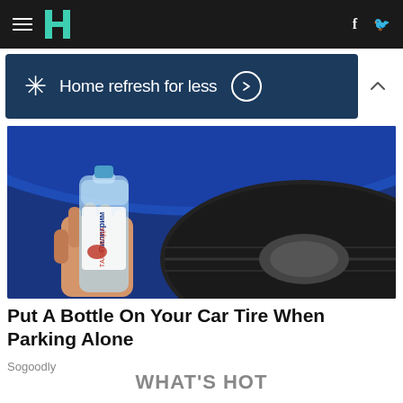HuffPost navigation bar with hamburger menu, logo, Facebook and Twitter icons
[Figure (screenshot): Walmart advertisement banner: snowflake/asterisk logo, text 'Home refresh for less' with arrow circle button, and collapse chevron]
[Figure (photo): A hand holding a water bottle (Пилигрим / Piligrim brand, Russian text) pressed against a car tire, with blue car body visible above]
Put A Bottle On Your Car Tire When Parking Alone
Sogoodly
WHAT'S HOT